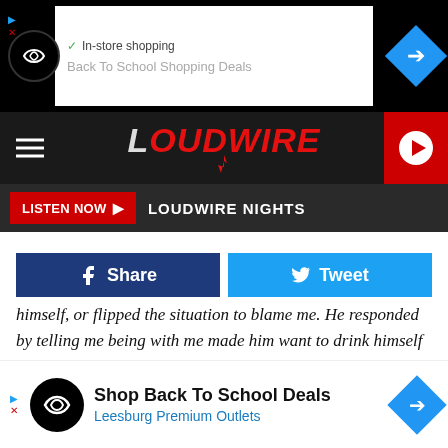[Figure (screenshot): Top advertisement banner showing 'In-store shopping' and 'Back To School Shopping Deals' with navigation arrows and infinity logo icon]
[Figure (logo): Loudwire logo in white/red bold italic text on dark background with red lightning bolt, hamburger menu on left, red play button on right]
LISTEN NOW  LOUDWIRE NIGHTS
Share  Tweet
himself, or flipped the situation to blame me. He responded by telling me being with me made him want to drink himself to death, smoke crack in a hotel room for 4 days, kill himself, etc. After uttering such relationship-ending statements, he asked cheerfully if I wanted dinner and to watch Game of Thrones. I slept in a different room because I found
[Figure (screenshot): Bottom advertisement for 'Shop Back To School Deals' at Leesburg Premium Outlets with infinity logo and blue diamond arrow icon]